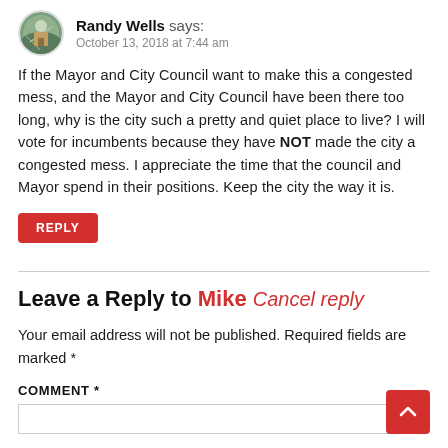[Figure (photo): Round avatar photo of Randy Wells — outdoor/building scene]
Randy Wells says:
October 13, 2018 at 7:44 am
If the Mayor and City Council want to make this a congested mess, and the Mayor and City Council have been there too long, why is the city such a pretty and quiet place to live? I will vote for incumbents because they have NOT made the city a congested mess. I appreciate the time that the council and Mayor spend in their positions. Keep the city the way it is.
REPLY
Leave a Reply to Mike Cancel reply
Your email address will not be published. Required fields are marked *
COMMENT *